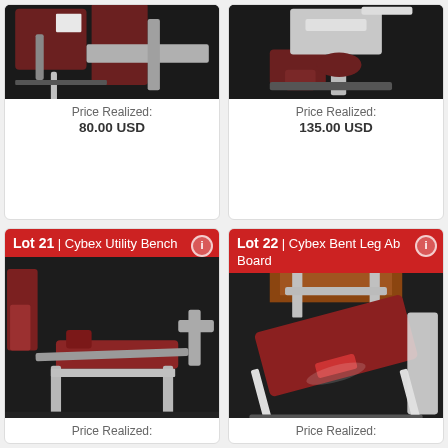[Figure (photo): Gym equipment photo - partial view of utility bench attachment, dark background]
Price Realized:
80.00 USD
[Figure (photo): Gym equipment photo - preacher curl or seated machine with red padding, white frame, dark background]
Price Realized:
135.00 USD
Lot 21 | Cybex Utility Bench
[Figure (photo): Cybex Utility Bench - gym equipment with red padding and white metal frame on dark floor]
Price Realized:
Lot 22 | Cybex Bent Leg Ab Board
[Figure (photo): Cybex Bent Leg Ab Board - incline bench with dark red padding on dark floor]
Price Realized: